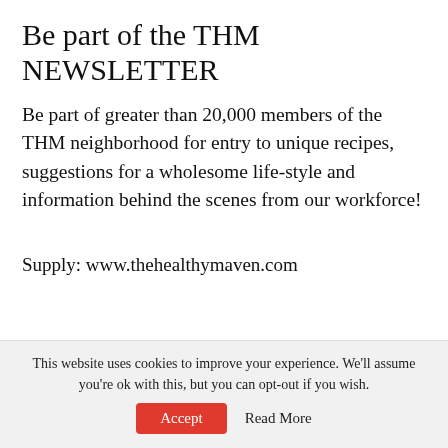Be part of the THM NEWSLETTER
Be part of greater than 20,000 members of the THM neighborhood for entry to unique recipes, suggestions for a wholesome life-style and information behind the scenes from our workforce!
Supply: www.thehealthymaven.com
[Figure (infographic): Social sharing buttons: Listen (blue pill), Facebook (blue circle), Twitter (blue circle), WhatsApp (green circle), laughing emoji (yellow circle), Chat (orange pill), Share (orange circle)]
This website uses cookies to improve your experience. We'll assume you're ok with this, but you can opt-out if you wish.
Accept   Read More